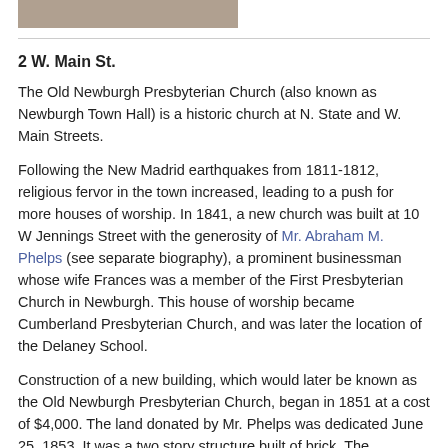[Figure (photo): Partial view of a building photograph, cropped at top of page]
2 W. Main St.
The Old Newburgh Presbyterian Church (also known as Newburgh Town Hall) is a historic church at N. State and W. Main Streets.
Following the New Madrid earthquakes from 1811-1812, religious fervor in the town increased, leading to a push for more houses of worship. In 1841, a new church was built at 10 W Jennings Street with the generosity of Mr. Abraham M. Phelps (see separate biography), a prominent businessman whose wife Frances was a member of the First Presbyterian Church in Newburgh. This house of worship became Cumberland Presbyterian Church, and was later the location of the Delaney School.
Construction of a new building, which would later be known as the Old Newburgh Presbyterian Church, began in 1851 at a cost of $4,000. The land donated by Mr. Phelps was dedicated June 25, 1853. It was a two story structure built of brick. The Sanctuary was on what is now called the second floor. At the rear of the Sanctuary was a small choir loft which was reached through a robing room, later the pastor's study. The lower level